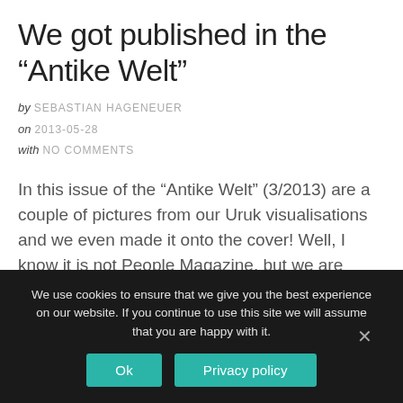We got published in the “Antike Welt”
by SEBASTIAN HAGENEUER
on 2013-05-28
with NO COMMENTS
In this issue of the “Antike Welt” (3/2013) are a couple of pictures from our Uruk visualisations and we even made it onto the cover! Well, I know it is not People Magazine, but we are nonetheless very proud. You’ll see visualisations of the Ur III Period, the Late Uruk Period and the Seleucid Period. […]
We use cookies to ensure that we give you the best experience on our website. If you continue to use this site we will assume that you are happy with it.